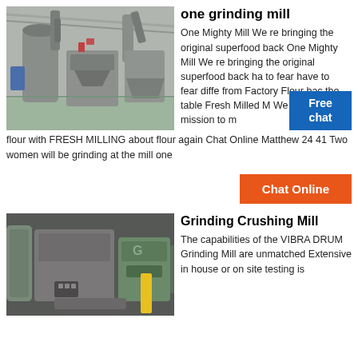one grinding mill
[Figure (photo): Industrial grinding mill machinery in a large warehouse/factory setting with grey equipment, pipes, dust collectors, and green floor.]
One Mighty Mill We re bringing the original superfood back One Mighty Mill We re bringing the original superfood back ha to fear have to fear diffe from Factory Flour bac the table Fresh Milled M We re on a mission to m
flour with FRESH MILLING about flour again Chat Online Matthew 24 41 Two women will be grinding at the mill one
Chat Online
Grinding Crushing Mill
[Figure (photo): Industrial grinding/crushing mill machinery in a workshop, showing heavy grey and blue equipment with yellow safety element.]
The capabilities of the VIBRA DRUM Grinding Mill are unmatched Extensive in house or on site testing is